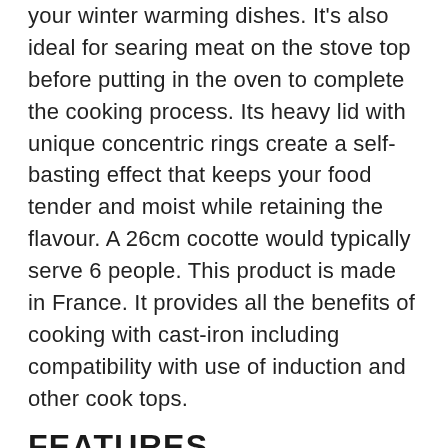your winter warming dishes. It's also ideal for searing meat on the stove top before putting in the oven to complete the cooking process. Its heavy lid with unique concentric rings create a self-basting effect that keeps your food tender and moist while retaining the flavour. A 26cm cocotte would typically serve 6 people. This product is made in France. It provides all the benefits of cooking with cast-iron including compatibility with use of induction and other cook tops.
FEATURES
Made in France – produced in the Champagne Ardennes region of